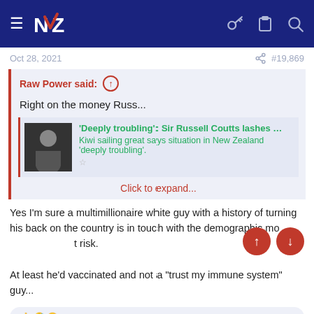[Figure (screenshot): Navigation bar with hamburger menu, NZ logo, key icon, clipboard icon, and search icon on dark navy background]
Oct 28, 2021   #19,869
Raw Power said: ↑
Right on the money Russ...
[Figure (screenshot): Embedded link preview: photo of man, headline 'Deeply troubling': Sir Russell Coutts lashes ... Kiwi sailing great says situation in New Zealand 'deeply troubling'.]
Click to expand...
Yes I'm sure a multimillionaire white guy with a history of turning his back on the country is in touch with the demographic mo...t risk.
At least he'd vaccinated and not a "trust my immune system" guy...
👍 🤣 😍 Old Sid, Worried2Death, Boats n Hoes and 4 others